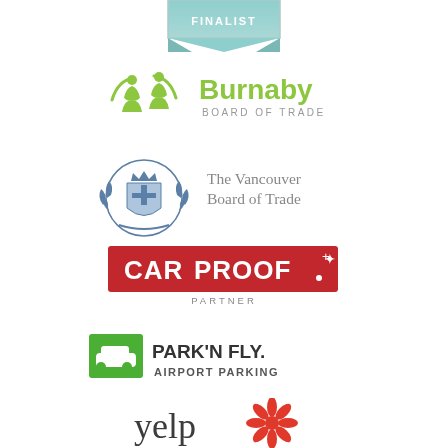[Figure (logo): Finalist badge/ribbon - teal/silver colored badge with text FINALIST]
[Figure (logo): Burnaby Board of Trade logo - green stylized figures and green text 'Burnaby' with grey text 'BOARD OF TRADE']
[Figure (logo): The Vancouver Board of Trade logo - blue heraldic crest with grey text 'The Vancouver Board of Trade']
[Figure (logo): CarProof Partner logo - red rectangle with white bold text 'CARPROOF' and a maple leaf, with grey text 'PARTNER' below]
[Figure (logo): Park'N Fly Airport Parking logo - green square with white car icon, bold dark text 'PARK'N FLY.' and smaller text 'AIRPORT PARKING']
[Figure (logo): Yelp logo - dark grey text 'yelp' with red starburst/flower icon to the right]